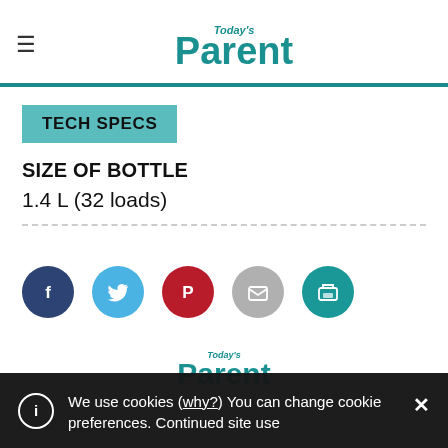Today's Parent
TECH SPECS
SIZE OF BOTTLE
1.4 L (32 loads)
[Figure (infographic): Social sharing icons: Facebook (dark blue), Twitter (light blue), Pinterest (red), Email (grey), Print (teal)]
[Figure (logo): Today's Parent footer logo (partial, teal)]
We use cookies (why?) You can change cookie preferences. Continued site use